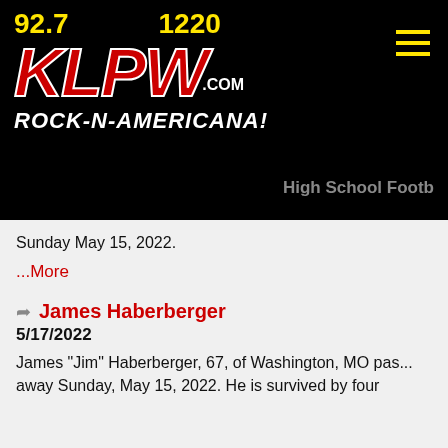[Figure (logo): KLPW radio station logo with frequencies 92.7 and 1220, red italic KLPW text, tagline ROCK-N-AMERICANA!, hamburger menu icon, and High School Footb navigation text on black background]
Sunday May 15, 2022.
...More
James Haberberger
5/17/2022
James "Jim" Haberberger, 67, of Washington, MO passed away Sunday, May 15, 2022. He is survived by four